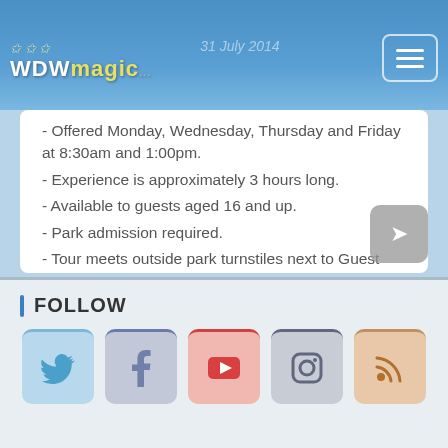WDWmagic - 31 July 2014
- Offered Monday, Wednesday, Thursday and Friday at 8:30am and 1:00pm.
- Experience is approximately 3 hours long.
- Available to guests aged 16 and up.
- Park admission required.
- Tour meets outside park turnstiles next to Guest Relations window.
- Pricing information changes periodically, currently the price is $72/Guest.
FOLLOW